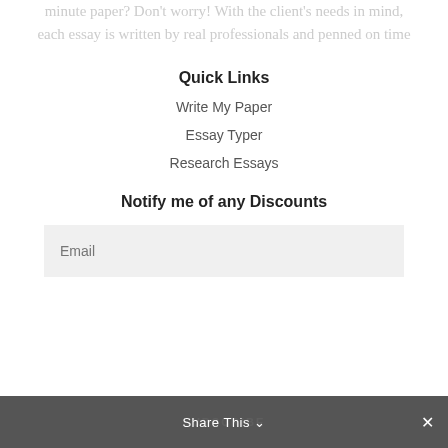Any academic essays due tomorrow? Have a last minute paper? Don't worry! With the client's needs in mind, each essay is written by real professionals and penned on time
Quick Links
Write My Paper
Essay Typer
Research Essays
Notify me of any Discounts
Email
SUBSCRIBE
Share This